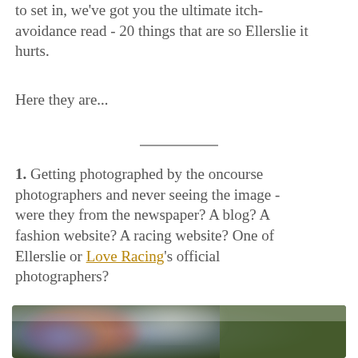to set in, we've got you the ultimate itch-avoidance read - 20 things that are so Ellerslie it hurts.
Here they are...
1. Getting photographed by the oncourse photographers and never seeing the image - were they from the newspaper? A blog? A fashion website? A racing website? One of Ellerslie or Love Racing's official photographers?
[Figure (photo): Blurred outdoor photograph taken at a racing event, showing people in colorful attire against a green background.]